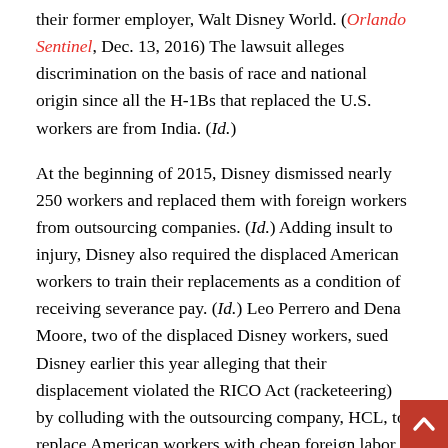their former employer, Walt Disney World. (Orlando Sentinel, Dec. 13, 2016) The lawsuit alleges discrimination on the basis of race and national origin since all the H-1Bs that replaced the U.S. workers are from India. (Id.)
At the beginning of 2015, Disney dismissed nearly 250 workers and replaced them with foreign workers from outsourcing companies. (Id.) Adding insult to injury, Disney also required the displaced American workers to train their replacements as a condition of receiving severance pay. (Id.) Leo Perrero and Dena Moore, two of the displaced Disney workers, sued Disney earlier this year alleging that their displacement violated the RICO Act (racketeering) by colluding with the outsourcing company, HCL, to replace American workers with cheap foreign labor. (See FAIR Legislative Update, May, 24, 2016) But in October, U.S. District Judge Gregory Presnell dismissed the suit, ruling